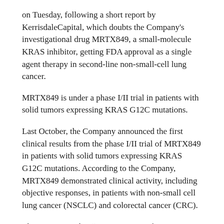on Tuesday, following a short report by KerrisdaleCapital, which doubts the Company's investigational drug MRTX849, a small-molecule KRAS inhibitor, getting FDA approval as a single agent therapy in second-line non-small-cell lung cancer.
MRTX849 is under a phase I/II trial in patients with solid tumors expressing KRAS G12C mutations.
Last October, the Company announced the first clinical results from the phase I/II trial of MRTX849 in patients with solid tumors expressing KRAS G12C mutations. According to the Company, MRTX849 demonstrated clinical activity, including objective responses, in patients with non-small cell lung cancer (NSCLC) and colorectal cancer (CRC).
The report says that “MRTX-849 is a first-generation KRAS inhibitor that will quickly become obsolete even in the improbable scenario that it’s approved”.